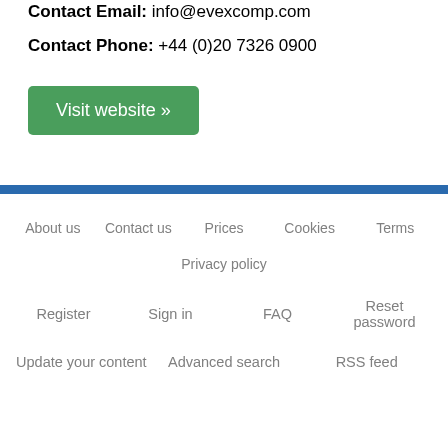Contact Email: info@evexcomp.com
Contact Phone: +44 (0)20 7326 0900
Visit website »
About us   Contact us   Prices   Cookies   Terms
Privacy policy
Register   Sign in   FAQ   Reset password
Update your content   Advanced search   RSS feed